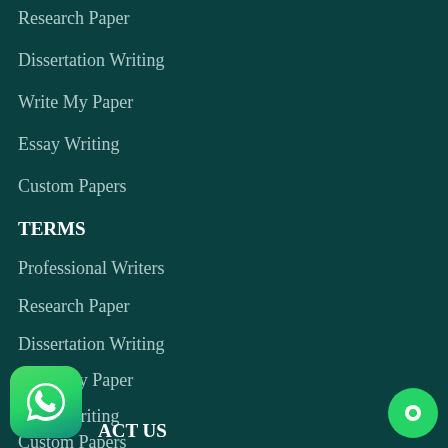Research Paper
Dissertation Writing
Write My Paper
Essay Writing
Custom Papers
TERMS
Professional Writers
Research Paper
Dissertation Writing
Write My Paper
Essay Writing
Custom Papers
CONTACT US
[Figure (logo): WhatsApp green icon with phone handset]
[Figure (logo): Green circle chat bubble icon]